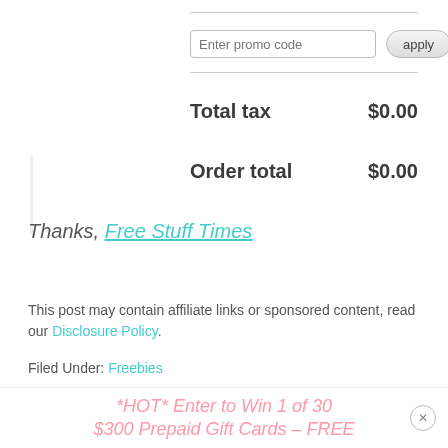[Figure (screenshot): Promo code input field with 'Enter promo code' placeholder and an 'apply' button]
Total tax   $0.00
Order total   $0.00
Thanks, Free Stuff Times
This post may contain affiliate links or sponsored content, read our Disclosure Policy.
Filed Under: Freebies
Tagged: cards, father's, Free, got, Movie
*HOT* Enter to Win 1 of 30 $300 Prepaid Gift Cards – FREE